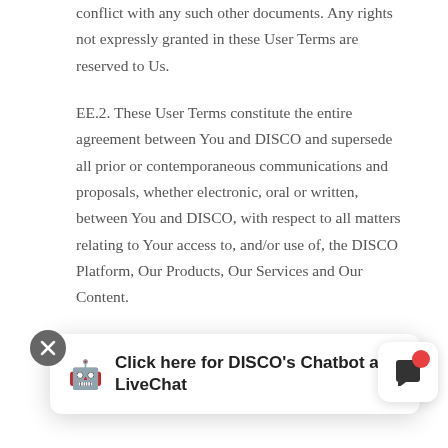conflict with any such other documents. Any rights not expressly granted in these User Terms are reserved to Us.
EE.2. These User Terms constitute the entire agreement between You and DISCO and supersede all prior or contemporaneous communications and proposals, whether electronic, oral or written, between You and DISCO, with respect to all matters relating to Your access to, and/or use of, the DISCO Platform, Our Products, Our Services and Our Content.
Privacy Policy and of any notice given in